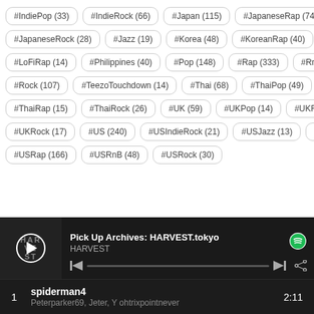#IndiePop (33)
#IndieRock (66)
#Japan (115)
#JapaneseRap (74)
#JapaneseRock (28)
#Jazz (19)
#Korea (48)
#KoreanRap (40)
#LoFiRap (14)
#Philippines (40)
#Pop (148)
#Rap (333)
#RnB (102)
#Rock (107)
#TeezoTouchdown (14)
#Thai (68)
#ThaiPop (49)
#ThaiRap (15)
#ThaiRock (26)
#UK (59)
#UKPop (14)
#UKRap (25)
#UKRock (17)
#US (240)
#USIndieRock (21)
#USJazz (13)
#USPop (57)
#USRap (166)
#USRnB (48)
#USRock (30)
[Figure (screenshot): Spotify music player bar showing 'Pick Up Archives: HARVEST.tokyo' playlist by HARVEST with playback controls and progress bar]
1  spiderman4  2:11
Peterparker69, Jeter, Y ohtrixpointnever
2  Flight to Mumbai  2:25